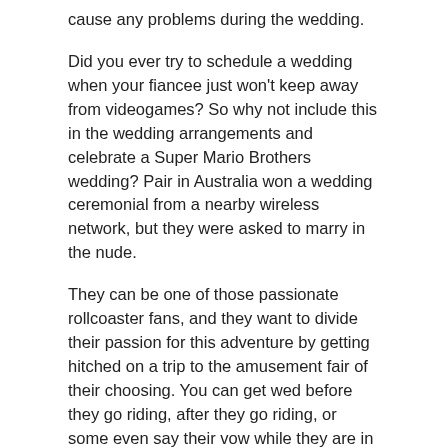cause any problems during the wedding.
Did you ever try to schedule a wedding when your fiancee just won't keep away from videogames? So why not include this in the wedding arrangements and celebrate a Super Mario Brothers wedding? Pair in Australia won a wedding ceremonial from a nearby wireless network, but they were asked to marry in the nude.
They can be one of those passionate rollcoaster fans, and they want to divide their passion for this adventure by getting hitched on a trip to the amusement fair of their choosing. You can get wed before they go riding, after they go riding, or some even say their vow while they are in the center of the trip.
The thought of not being wedded to Capt Picard all your fucking Life makes you ill? A lot of them have similarly gotten their significant others in Star Trek by dressing up the bride and groom amp clubs as figures from the popular show and, with a little luck, finding someone to match them in the Captain's outfit.
Perhaps if you're a Dreamworks enthusiast of the film Shrek,